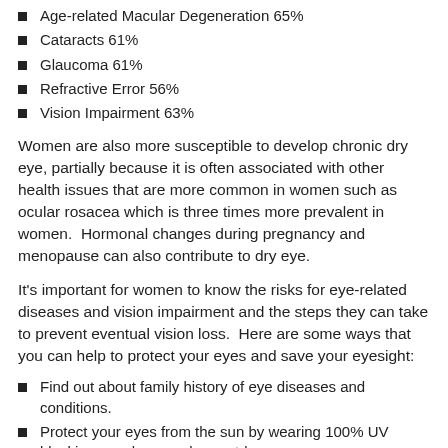Age-related Macular Degeneration 65%
Cataracts 61%
Glaucoma 61%
Refractive Error 56%
Vision Impairment 63%
Women are also more susceptible to develop chronic dry eye, partially because it is often associated with other health issues that are more common in women such as ocular rosacea which is three times more prevalent in women.  Hormonal changes during pregnancy and menopause can also contribute to dry eye.
It's important for women to know the risks for eye-related diseases and vision impairment and the steps they can take to prevent eventual vision loss.  Here are some ways that you can help to protect your eyes and save your eyesight:
Find out about family history of eye diseases and conditions.
Protect your eyes from the sun by wearing 100% UV blocking sunglasses when outdoors.
Read more…